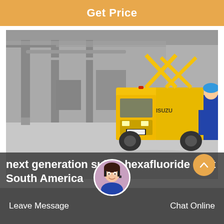Get Price
[Figure (photo): Industrial warehouse interior showing a yellow Isuzu truck with elevated crane/boom arms parked inside a large facility. A worker in blue uniform and hard hat is visible on the right side. The warehouse has metal support columns, pipes and ducting visible.]
next generation sulfur hexafluoride cost South America
Leave Message   Chat Online